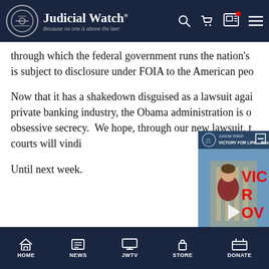Judicial Watch — Because no one is above the law!
through which the federal government runs the nation's is subject to disclosure under FOIA to the American peo
Now that it has a shakedown disguised as a lawsuit agai private banking industry, the Obama administration is o obsessive secrecy.  We hope, through our new lawsuit, t courts will vindi
Until next week.
[Figure (screenshot): Judicial Watch video overlay showing 'VICTORY FOR LIFE -- Roe v. Wa' with a man standing in front of the Supreme Court, red text reading 'VIC' and a play button]
HOME  NEWS  JWTV  STORE  DONATE